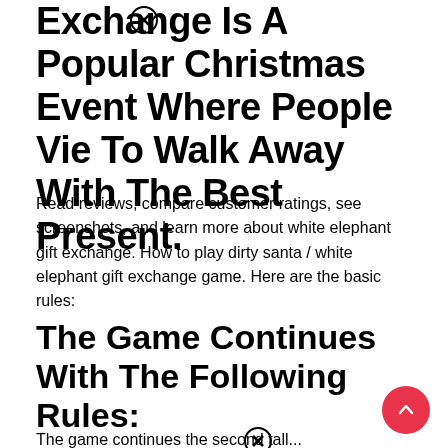Exchange Is A Popular Christmas Event Where People Vie To Walk Away With The Best Present.
Read reviews, compare customer ratings, see screenshots, and learn more about white elephant gift exchange. How to play dirty santa / white elephant gift exchange game. Here are the basic rules:
The Game Continues With The Following Rules:
The game continues the second tall...